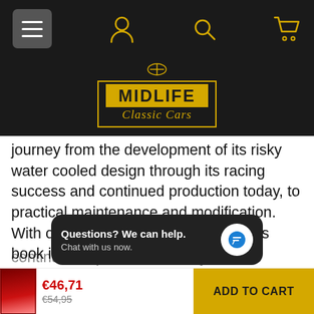[Figure (screenshot): Website navigation bar with hamburger menu, user icon, search icon, and cart icon on dark background]
[Figure (logo): Midlife Classic Cars logo — gold shield/badge with MIDLIFE in bold black on gold bar and 'Classic Cars' in gold cursive script, on dark background]
journey from the development of its risky water cooled design through its racing success and continued production today, to practical maintenance and modification. With over 400 colour photographs, this book is a true homage to the Porsche Carrera and covers the concept, design and evolution of the 996,997 and 991, including an interview with harm Lagaaji, stylist in the Porsche design studios. Complete story of the iconic Porsche Carrera from conception, design and evolution of the 996, 997 and 991. Though continues in production today and the
[Figure (screenshot): Chat popup overlay reading 'Questions? We can help. Chat with us now.' with a blue chat icon button]
[Figure (photo): Small book thumbnail showing a red Porsche on the cover]
€46,71
€54,95
ADD TO CART